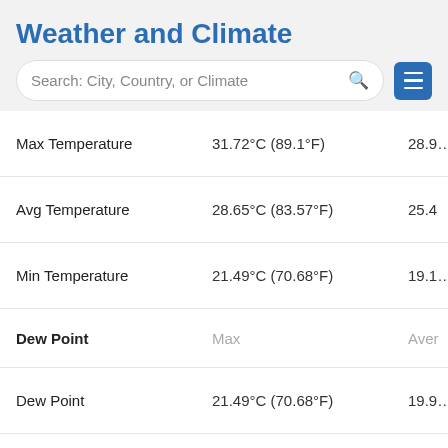Weather and Climate
[Figure (screenshot): Search box with placeholder text 'Search: City, Country, or Climate' and a hamburger menu button]
|  | Max | Aver |
| --- | --- | --- |
| Max Temperature | 31.72°C (89.1°F) | 28.9… |
| Avg Temperature | 28.65°C (83.57°F) | 25.4… |
| Min Temperature | 21.49°C (70.68°F) | 19.1… |
| Dew Point | Max | Aver |
| Dew Point | 21.49°C (70.68°F) | 19.9… |
| Precipitation | Max | Aver |
| Precipitation | 4.91mm | 0.19in |  |